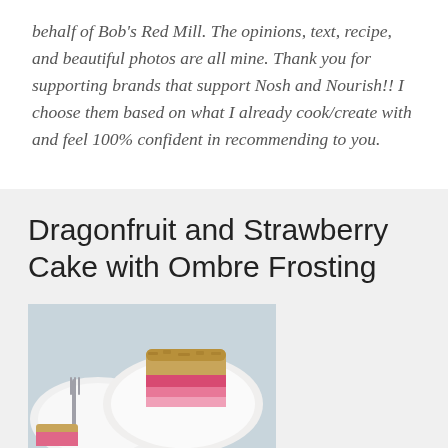behalf of Bob's Red Mill. The opinions, text, recipe, and beautiful photos are all mine. Thank you for supporting brands that support Nosh and Nourish!! I choose them based on what I already cook/create with and feel 100% confident in recommending to you.
Dragonfruit and Strawberry Cake with Ombre Frosting
[Figure (photo): A heart-shaped slice of cake with pink ombre frosting on a white plate, with a silver fork visible on the left. Another plate with cake slice visible at bottom left corner.]